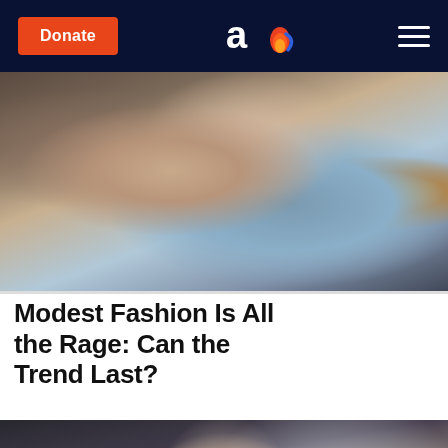Donate | ao (logo) | menu
[Figure (photo): Woman with long brown hair seen from behind/side, wearing a light blue-grey coat, with blurred bokeh background including orange light]
Modest Fashion Is All the Rage: Can the Trend Last?
[Figure (photo): Blonde woman with braided hair, smiling, wearing a black and white top, with a blurred interior/office background]